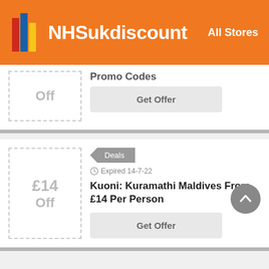[Figure (logo): NHSukdiscount logo with colorful vertical bars icon on orange header background]
All Stores
Off
Promo Codes
Get Offer
Deals
Expired 14-7-22
£14 Off
Kuoni: Kuramathi Maldives From £14 Per Person
Get Offer